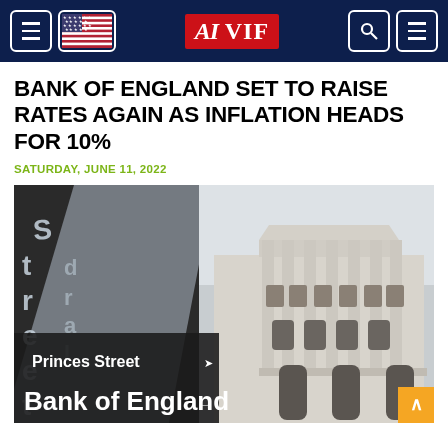AI VIF
BANK OF ENGLAND SET TO RAISE RATES AGAIN AS INFLATION HEADS FOR 10%
SATURDAY, JUNE 11, 2022
[Figure (photo): Composite photo showing a street sign reading 'Princes Street' and 'Bank of England' on the left, and the Bank of England building facade with classical columns on the right.]